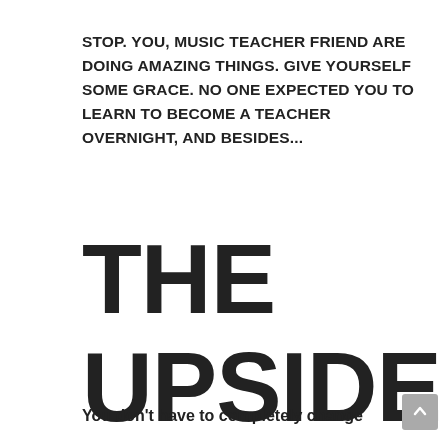STOP. YOU, MUSIC TEACHER FRIEND ARE DOING AMAZING THINGS. GIVE YOURSELF SOME GRACE. NO ONE EXPECTED YOU TO LEARN TO BECOME A TEACHER OVERNIGHT, AND BESIDES...
THE UPSIDE
You don't have to completely change